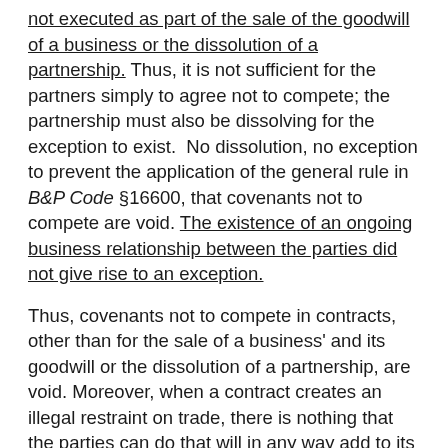not executed as part of the sale of the goodwill of a business or the dissolution of a partnership. Thus, it is not sufficient for the partners simply to agree not to compete; the partnership must also be dissolving for the exception to exist. No dissolution, no exception to prevent the application of the general rule in B&P Code §16600, that covenants not to compete are void. The existence of an ongoing business relationship between the parties did not give rise to an exception.
Thus, covenants not to compete in contracts, other than for the sale of a business' and its goodwill or the dissolution of a partnership, are void. Moreover, when a contract creates an illegal restraint on trade, there is nothing that the parties can do that will in any way add to its validity. If the contract is void, it cannot be ratified either by right or by conduct. [See South Bay Radiology Medical Associates v. Asher (1990) 220 Cal. App. 3d 1074,